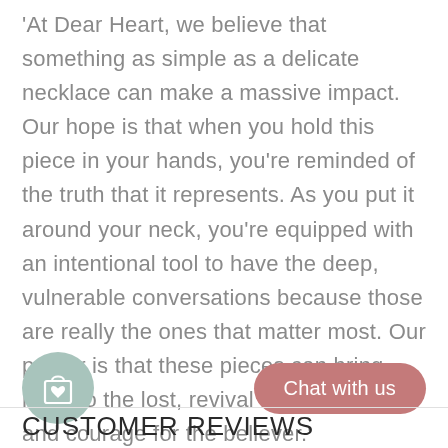'At Dear Heart, we believe that something as simple as a delicate necklace can make a massive impact. Our hope is that when you hold this piece in your hands, you're reminded of the truth that it represents. As you put it around your neck, you're equipped with an intentional tool to have the deep, vulnerable conversations because those are really the ones that matter most. Our prayer is that these pieces can bring hope to the lost, revival to the weary, and courage for the believer.'
[Figure (other): Shopping bag with heart icon inside a muted green circle, and a 'Chat with us' pink rounded button]
CUSTOMER REVIEWS